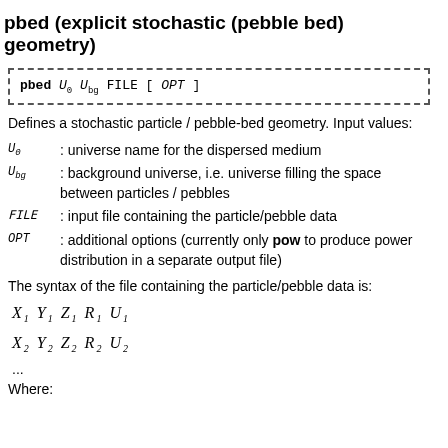pbed (explicit stochastic (pebble bed) geometry)
pbed U_0 U_bg FILE [ OPT ]
Defines a stochastic particle / pebble-bed geometry. Input values:
U_0 : universe name for the dispersed medium
U_bg : background universe, i.e. universe filling the space between particles / pebbles
FILE : input file containing the particle/pebble data
OPT : additional options (currently only pow to produce power distribution in a separate output file)
The syntax of the file containing the particle/pebble data is:
...
Where: